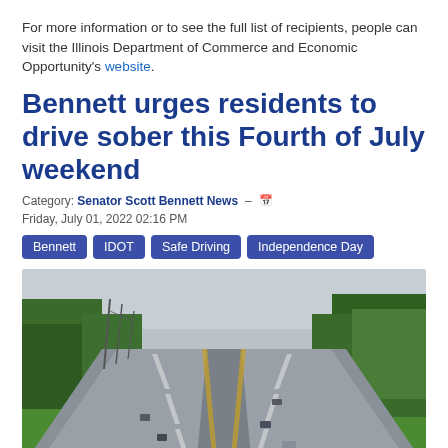For more information or to see the full list of recipients, people can visit the Illinois Department of Commerce and Economic Opportunity's website.
Bennett urges residents to drive sober this Fourth of July weekend
Category: Senator Scott Bennett News — Friday, July 01, 2022 02:16 PM
Bennett
IDOT
Safe Driving
Independence Day
[Figure (photo): Aerial view of a multi-lane divided highway with light traffic, flanked by green trees and grass on both sides under an overcast sky.]